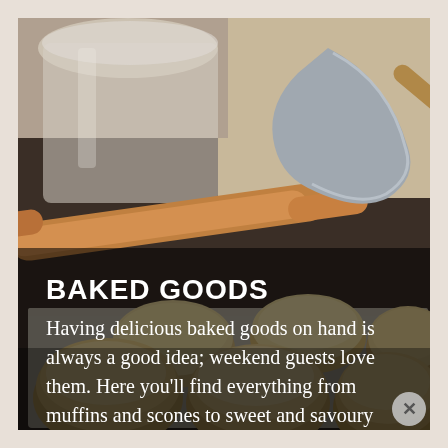[Figure (photo): Photo of freshly baked biscuits/scones on a baking tray, with a rolling pin and a metal scoop/flour jar visible in the background on a kitchen counter.]
BAKED GOODS
Having delicious baked goods on hand is always a good idea; weekend guests love them. Here you'll find everything from muffins and scones to sweet and savoury